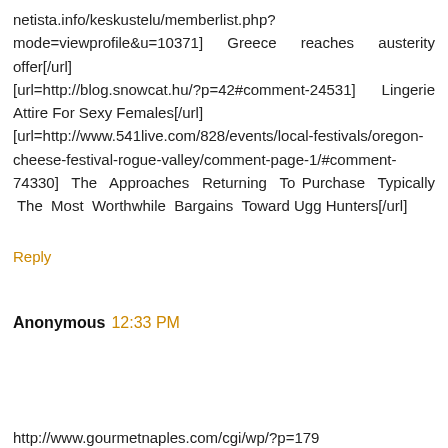netista.info/keskustelu/memberlist.php?mode=viewprofile&u=10371] Greece reaches austerity offer[/url] [url=http://blog.snowcat.hu/?p=42#comment-24531] Lingerie Attire For Sexy Females[/url] [url=http://www.541live.com/828/events/local-festivals/oregon-cheese-festival-rogue-valley/comment-page-1/#comment-74330] The Approaches Returning To Purchase Typically The Most Worthwhile Bargains Toward Ugg Hunters[/url]
Reply
Anonymous 12:33 PM
http://www.gourmetnaples.com/cgi/wp/?p=179